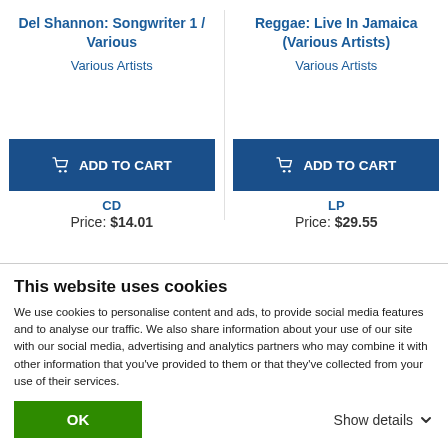Del Shannon: Songwriter 1 / Various
Various Artists
Reggae: Live In Jamaica (Various Artists)
Various Artists
ADD TO CART
ADD TO CART
CD
Price: $14.01
LP
Price: $29.55
This website uses cookies
We use cookies to personalise content and ads, to provide social media features and to analyse our traffic. We also share information about your use of our site with our social media, advertising and analytics partners who may combine it with other information that you've provided to them or that they've collected from your use of their services.
OK
Show details